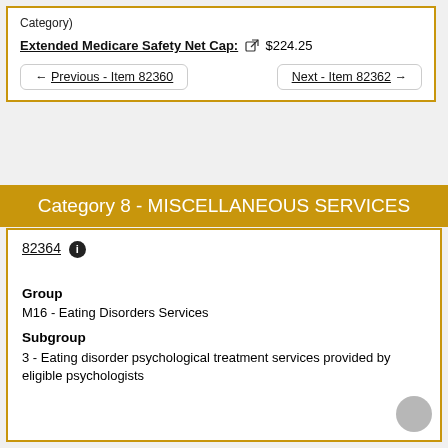Category)
Extended Medicare Safety Net Cap: $224.25
← Previous - Item 82360
Next - Item 82362 →
Category 8 - MISCELLANEOUS SERVICES
82364
Group
M16 - Eating Disorders Services
Subgroup
3 - Eating disorder psychological treatment services provided by eligible psychologists